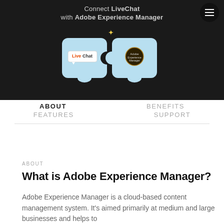[Figure (illustration): Dark banner showing 'Connect LiveChat with Adobe Experience Manager' with two puzzle piece icons containing LiveChat and Adobe Experience Manager logos, and a hamburger menu button in the top right.]
ABOUT   BENEFITS
FEATURES   SUPPORT
ABOUT
What is Adobe Experience Manager?
Adobe Experience Manager is a cloud-based content management system. It's aimed primarily at medium and large businesses and helps to...